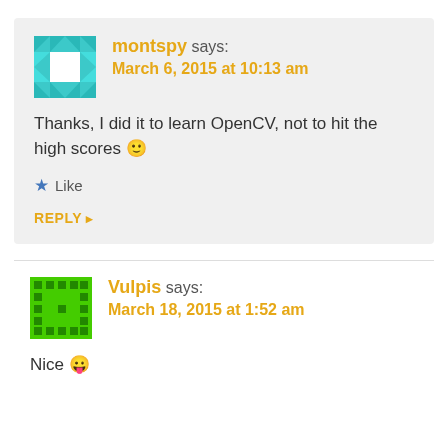montspy says: March 6, 2015 at 10:13 am
Thanks, I did it to learn OpenCV, not to hit the high scores 🙂
★ Like
REPLY ▸
Vulpis says: March 18, 2015 at 1:52 am
Nice 😛